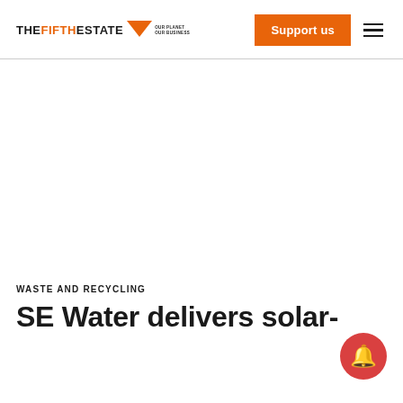THE FIFTH ESTATE — OUR PLANET OUR BUSINESS | Support us
WASTE AND RECYCLING
SE Water delivers solar-